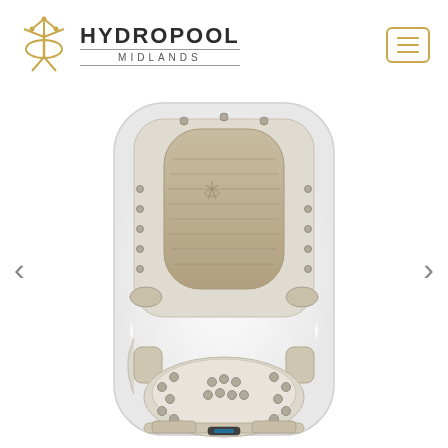[Figure (logo): Hydropool Midlands logo with golden crown/figure icon and text HYDROPOOL MIDLANDS]
[Figure (photo): Top-down aerial view of a Hydropool swim spa / hot tub showing white acrylic shell with beige/tan floor mat, multiple hydrotherapy jets on both sides, seating area at bottom end with jets, and spa controls]